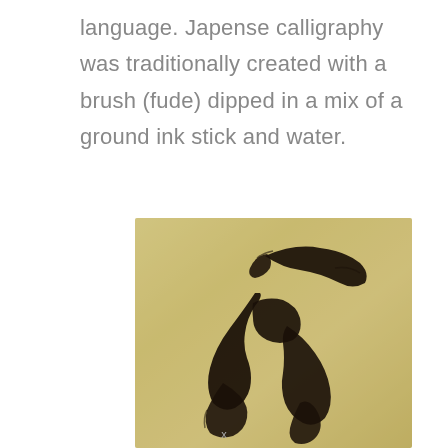language. Japense calligraphy was traditionally created with a brush (fude) dipped in a mix of a ground ink stick and water.
[Figure (illustration): A Japanese calligraphy character written in black ink on aged yellowish-tan paper background. The character is rendered in a cursive/grass script style with bold, flowing brushstrokes.]